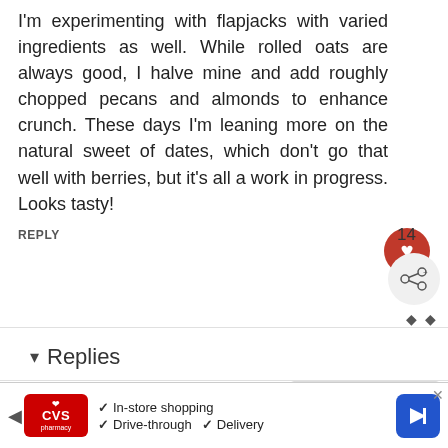I'm experimenting with flapjacks with varied ingredients as well. While rolled oats are always good, I halve mine and add roughly chopped pecans and almonds to enhance crunch. These days I'm leaning more on the natural sweet of dates, which don't go that well with berries, but it's all a work in progress. Looks tasty!
REPLY
14
▾ Replies
Jacqueline Meldrum ✔
Saturday, 12 October
WHAT'S NEXT → Scottish Oaty Cranachan...
In-store shopping Drive-through Delivery